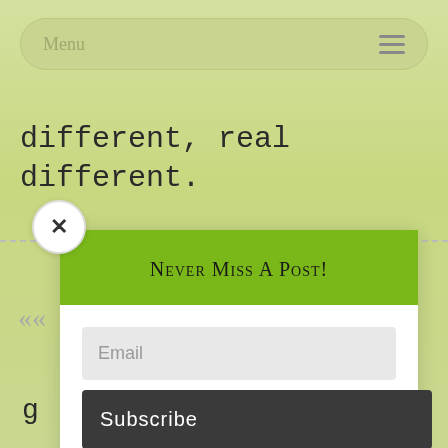Menu
different, real different.
[Figure (screenshot): Email subscription modal popup with green header 'Never Miss A Post!', an email input field, a Subscribe button, and a Rapidology powered footer. Includes a close (×) button in the top-left corner.]
Powered by Rapidology